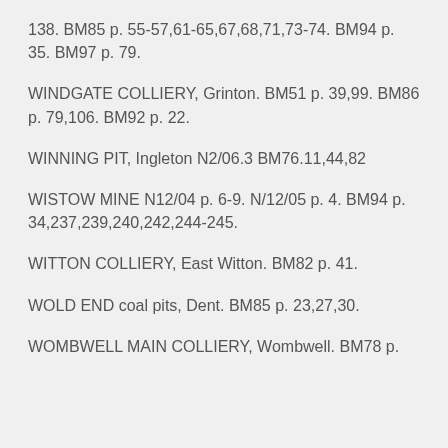138. BM85 p. 55-57,61-65,67,68,71,73-74. BM94 p. 35. BM97 p. 79.
WINDGATE COLLIERY, Grinton. BM51 p. 39,99. BM86 p. 79,106. BM92 p. 22.
WINNING PIT, Ingleton N2/06.3 BM76.11,44,82
WISTOW MINE N12/04 p. 6-9. N/12/05 p. 4. BM94 p. 34,237,239,240,242,244-245.
WITTON COLLIERY, East Witton. BM82 p. 41.
WOLD END coal pits, Dent. BM85 p. 23,27,30.
WOMBWELL MAIN COLLIERY, Wombwell. BM78 p.